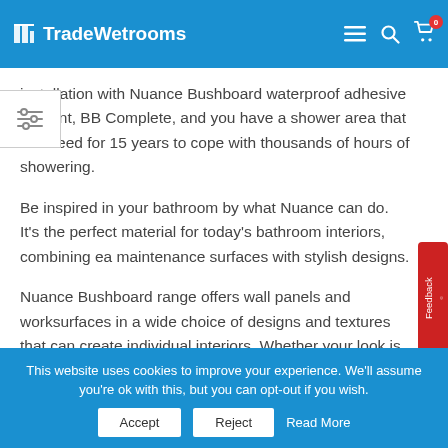TradeWetrooms
installation with Nuance Bushboard waterproof adhesive and ant, BB Complete, and you have a shower area that is anteed for 15 years to cope with thousands of hours of showering.
Be inspired in your bathroom by what Nuance can do. It's the perfect material for today's bathroom interiors, combining easy maintenance surfaces with stylish designs.
Nuance Bushboard range offers wall panels and worksurfaces in a wide choice of designs and textures that can create individual interiors. Whether your look is traditional, modern or
This website uses cookies to improve your experience. We'll assume you're ok with this, but you can opt-out if you wish.